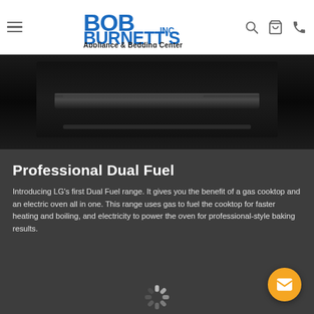Bob Burnett's Inc. Appliance & Bedding Center
[Figure (photo): Close-up of a dark/black professional range oven door with a horizontal handle bar, shown against a very dark background]
Professional Dual Fuel
Introducing LG's first Dual Fuel range. It gives you the benefit of a gas cooktop and an electric oven all in one. This range uses gas to fuel the cooktop for faster heating and boiling, and electricity to power the oven for professional-style baking results.
[Figure (other): Loading spinner icon (animated loader) at the bottom center of the dark section]